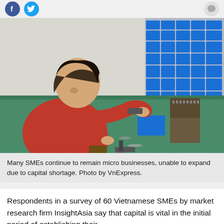[Figure (photo): A female worker in a red shirt sits at a workbench in a manufacturing facility, handling small metal parts. Behind her are shelves filled with blue plastic bins containing screws and other small hardware components. The workbench has a green surface covered with trays of sorted metal parts.]
Many SMEs continue to remain micro businesses, unable to expand due to capital shortage. Photo by VnExpress.
Respondents in a survey of 60 Vietnamese SMEs by market research firm InsightAsia say that capital is vital in the initial period of establishing their